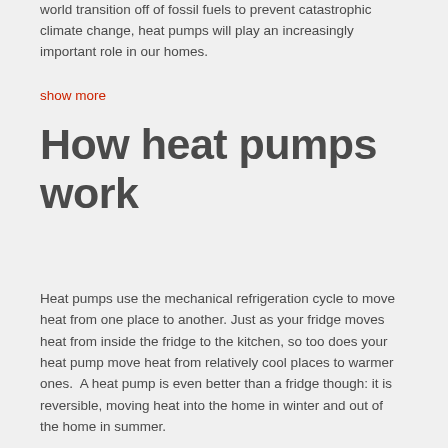world transition off of fossil fuels to prevent catastrophic climate change, heat pumps will play an increasingly important role in our homes.
show more
How heat pumps work
Heat pumps use the mechanical refrigeration cycle to move heat from one place to another. Just as your fridge moves heat from inside the fridge to the kitchen, so too does your heat pump move heat from relatively cool places to warmer ones.  A heat pump is even better than a fridge though: it is reversible, moving heat into the home in winter and out of the home in summer.